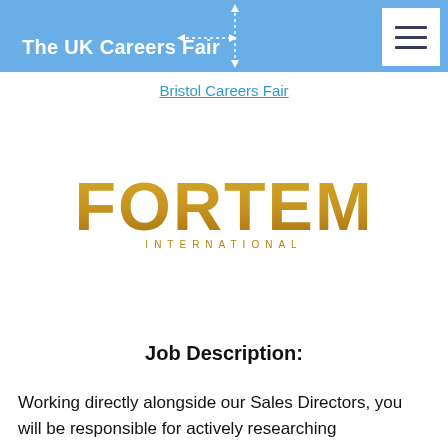The UK Careers Fair
Bristol Careers Fair
[Figure (logo): Fortem International logo with stylized gold 'FORTEM' text and 'INTERNATIONAL' subtitle]
Job Description:
Working directly alongside our Sales Directors, you will be responsible for actively researching